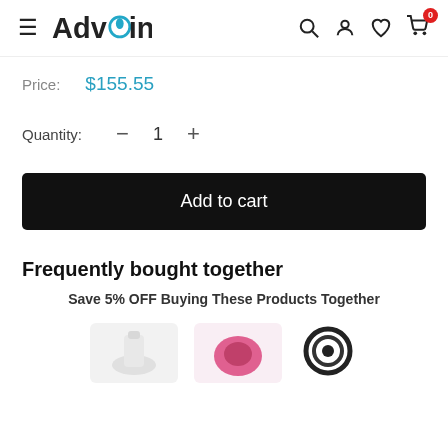Advoin - navigation bar with hamburger menu, logo, search, account, wishlist, cart (0)
Price: $155.55
Quantity: - 1 +
Add to cart
Frequently bought together
Save 5% OFF Buying These Products Together
[Figure (photo): Three product images shown at bottom: a white product on left, a pink circular product in center, and a black coiled product on right]